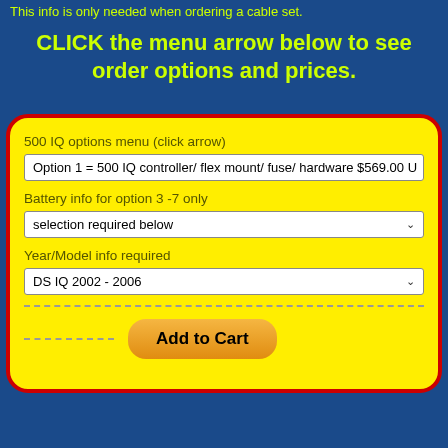This info is only needed when ordering a cable set.
CLICK the menu arrow below to see order options and prices.
500 IQ options menu (click arrow)
Option 1 = 500 IQ controller/ flex mount/ fuse/ hardware $569.00 U
Battery info for option 3 -7 only
selection required below
Year/Model info required
DS IQ 2002 - 2006
Add to Cart